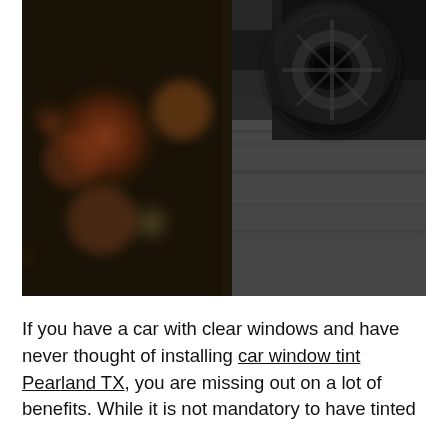[Figure (photo): Close-up photo of a car wheel/exhaust area in motion on a road, with blurred orange and brown bokeh in the foreground, dark asphalt background with motion blur.]
If you have a car with clear windows and have never thought of installing car window tint Pearland TX, you are missing out on a lot of benefits. While it is not mandatory to have tinted